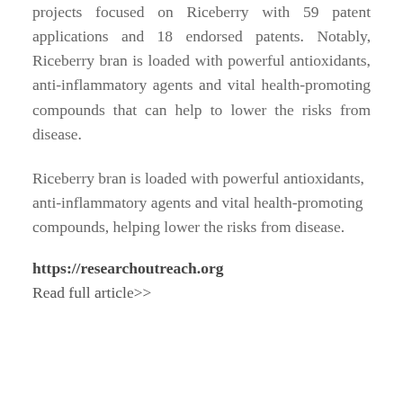projects focused on Riceberry with 59 patent applications and 18 endorsed patents. Notably, Riceberry bran is loaded with powerful antioxidants, anti-inflammatory agents and vital health-promoting compounds that can help to lower the risks from disease.
Riceberry bran is loaded with powerful antioxidants, anti-inflammatory agents and vital health-promoting compounds, helping lower the risks from disease.
https://researchoutreach.org
Read full article>>